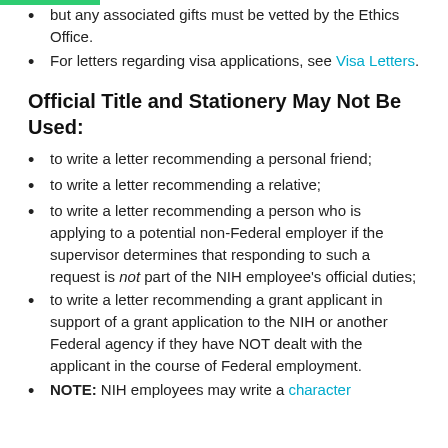but any associated gifts must be vetted by the Ethics Office.
For letters regarding visa applications, see Visa Letters.
Official Title and Stationery May Not Be Used:
to write a letter recommending a personal friend;
to write a letter recommending a relative;
to write a letter recommending a person who is applying to a potential non-Federal employer if the supervisor determines that responding to such a request is not part of the NIH employee's official duties;
to write a letter recommending a grant applicant in support of a grant application to the NIH or another Federal agency if they have NOT dealt with the applicant in the course of Federal employment.
NOTE: NIH employees may write a character